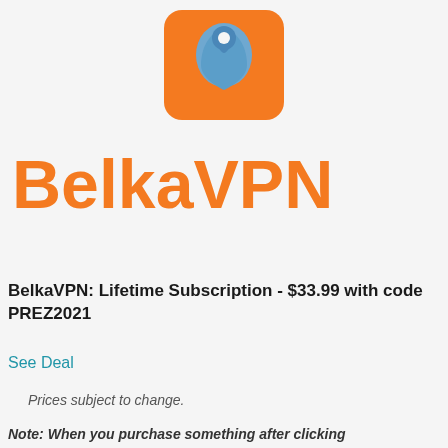[Figure (logo): BelkaVPN logo: orange rounded square background with a blue shield/location pin icon on top]
BelkaVPN
BelkaVPN: Lifetime Subscription - $33.99 with code PREZ2021
See Deal
Prices subject to change.
Note: When you purchase something after clicking